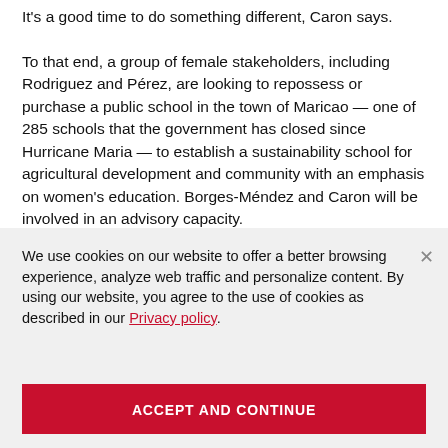It's a good time to do something different, Caron says. To that end, a group of female stakeholders, including Rodriguez and Pérez, are looking to repossess or purchase a public school in the town of Maricao — one of 285 schools that the government has closed since Hurricane Maria — to establish a sustainability school for agricultural development and community with an emphasis on women's education. Borges-Méndez and Caron will be involved in an advisory capacity.
We use cookies on our website to offer a better browsing experience, analyze web traffic and personalize content. By using our website, you agree to the use of cookies as described in our Privacy policy.
ACCEPT AND CONTINUE